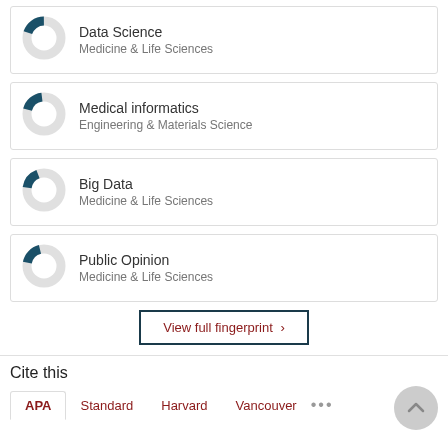[Figure (donut-chart): Small donut chart with teal filled slice, approximately 20% fill, for Data Science]
Data Science
Medicine & Life Sciences
[Figure (donut-chart): Small donut chart with teal filled slice, approximately 20% fill, for Medical informatics]
Medical informatics
Engineering & Materials Science
[Figure (donut-chart): Small donut chart with teal filled slice, approximately 18% fill, for Big Data]
Big Data
Medicine & Life Sciences
[Figure (donut-chart): Small donut chart with teal filled slice, approximately 20% fill, for Public Opinion]
Public Opinion
Medicine & Life Sciences
View full fingerprint ›
Cite this
APA   Standard   Harvard   Vancouver   ...